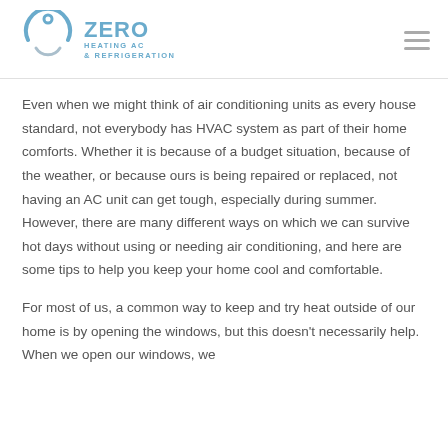ZERO HEATING AC & REFRIGERATION
Even when we might think of air conditioning units as every house standard, not everybody has HVAC system as part of their home comforts. Whether it is because of a budget situation, because of the weather, or because ours is being repaired or replaced, not having an AC unit can get tough, especially during summer. However, there are many different ways on which we can survive hot days without using or needing air conditioning, and here are some tips to help you keep your home cool and comfortable.
For most of us, a common way to keep and try heat outside of our home is by opening the windows, but this doesn't necessarily help. When we open our windows, we